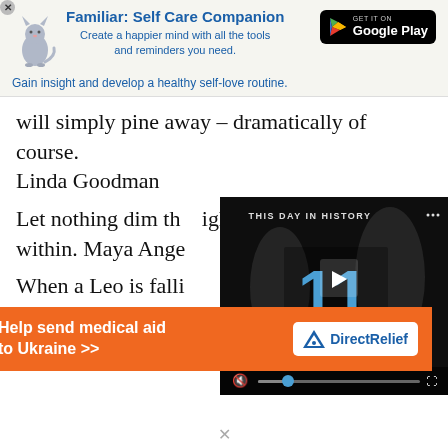[Figure (infographic): App advertisement banner for 'Familiar: Self Care Companion' with cat icon, Google Play button, tagline text]
will simply pine away – dramatically of course. Linda Goodman
Let nothing dim th light that shines from within. Maya Ange
When a Leo is falli charismatic as eve for someone with
[Figure (screenshot): Video player overlay showing 'THIS DAY IN HISTORY' with date '11 AUGUST' and video controls]
[Figure (infographic): Orange Direct Relief banner: 'Help send medical aid to Ukraine >>']